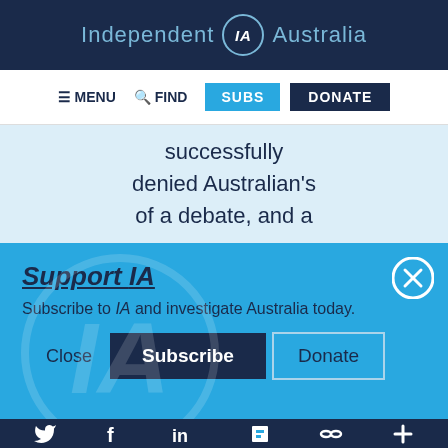Independent IA Australia
[Figure (screenshot): Navigation bar with MENU, FIND, SUBS, and DONATE buttons]
successfully denied Australian's of a debate, and a
Support IA
Subscribe to IA and investigate Australia today.
Close   Subscribe   Donate
Social media icons: Twitter, Facebook, LinkedIn, Flipboard, Link, Plus